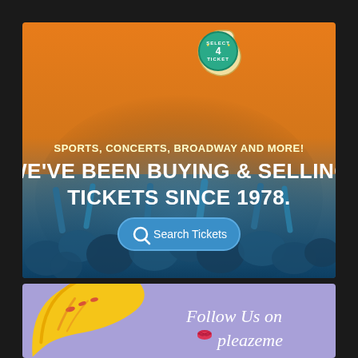[Figure (illustration): Select-A-Ticket advertisement banner. Orange to blue gradient background with concert crowd. Logo of a ticket at top center reading SELECT 4 TICKET. Text: SPORTS, CONCERTS, BROADWAY AND MORE! WE'VE BEEN BUYING & SELLING TICKETS SINCE 1978. Blue oval button: Search Tickets.]
[Figure (illustration): PleazMe advertisement banner. Purple/lavender background with a decorative banana with lipstick kiss marks. Script text: Follow Us on pleazeme with a red lips emoji/icon.]